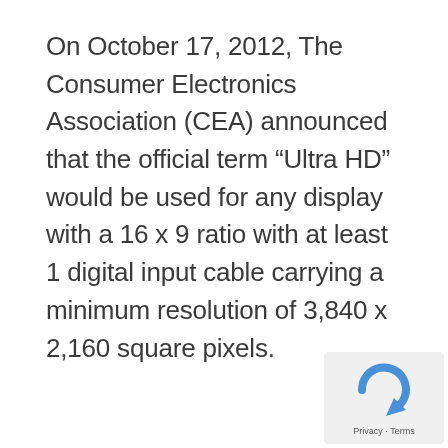On October 17, 2012, The Consumer Electronics Association (CEA) announced that the official term “Ultra HD” would be used for any display with a 16 x 9 ratio with at least 1 digital input cable carrying a minimum resolution of 3,840 x 2,160 square pixels.
[Figure (logo): Google reCAPTCHA widget with a blue circular arrow icon, and 'Privacy · Terms' text below it, in a light gray rounded rectangle box]